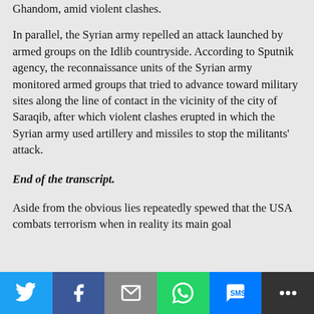Ghandom, amid violent clashes.
In parallel, the Syrian army repelled an attack launched by armed groups on the Idlib countryside. According to Sputnik agency, the reconnaissance units of the Syrian army monitored armed groups that tried to advance toward military sites along the line of contact in the vicinity of the city of Saraqib, after which violent clashes erupted in which the Syrian army used artillery and missiles to stop the militants’ attack.
End of the transcript.
Aside from the obvious lies repeatedly spewed that the USA combats terrorism when in reality its main goal